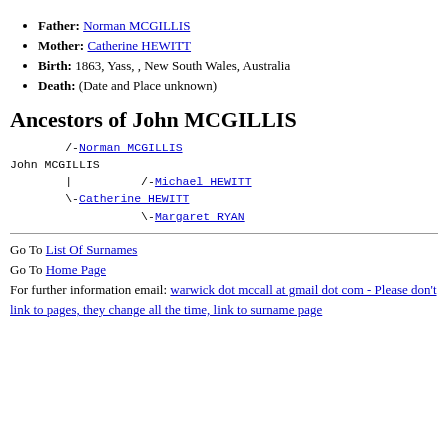Father: Norman MCGILLIS
Mother: Catherine HEWITT
Birth: 1863, Yass, , New South Wales, Australia
Death: (Date and Place unknown)
Ancestors of John MCGILLIS
Ancestors tree: /-Norman MCGILLIS
John MCGILLIS
        |          /-Michael HEWITT
        \-Catherine HEWITT
                   \-Margaret RYAN
Go To List Of Surnames
Go To Home Page
For further information email: warwick dot mccall at gmail dot com - Please don't link to pages, they change all the time, link to surname page